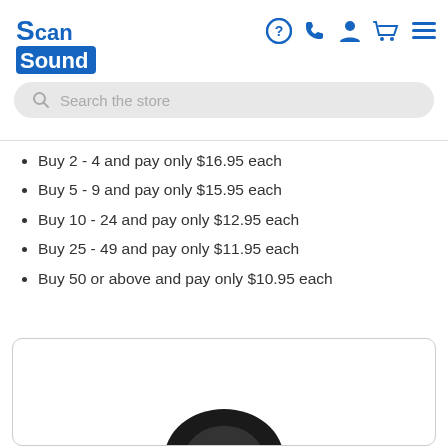[Figure (logo): ScanSound logo — blue stylized 'S' with 'can' text and 'Sound' block below]
[Figure (infographic): Navigation icons: question mark, phone, person, shopping cart, hamburger menu — all in dark blue]
[Figure (screenshot): Search bar with magnifying glass icon and 'Search the store' placeholder text on grey rounded background]
Buy 2 - 4 and pay only $16.95 each
Buy 5 - 9 and pay only $15.95 each
Buy 10 - 24 and pay only $12.95 each
Buy 25 - 49 and pay only $11.95 each
Buy 50 or above and pay only $10.95 each
[Figure (photo): Product image area — white card with rounded border showing partial dark headphone or speaker at bottom]